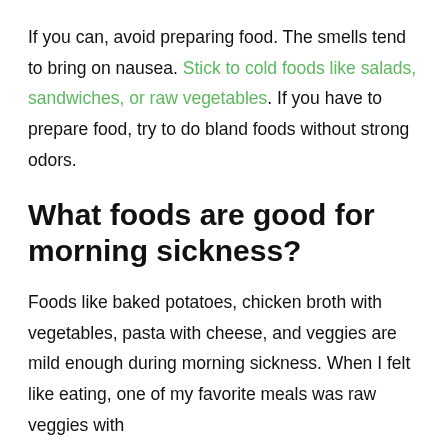If you can, avoid preparing food. The smells tend to bring on nausea. Stick to cold foods like salads, sandwiches, or raw vegetables. If you have to prepare food, try to do bland foods without strong odors.
What foods are good for morning sickness?
Foods like baked potatoes, chicken broth with vegetables, pasta with cheese, and veggies are mild enough during morning sickness. When I felt like eating, one of my favorite meals was raw veggies with